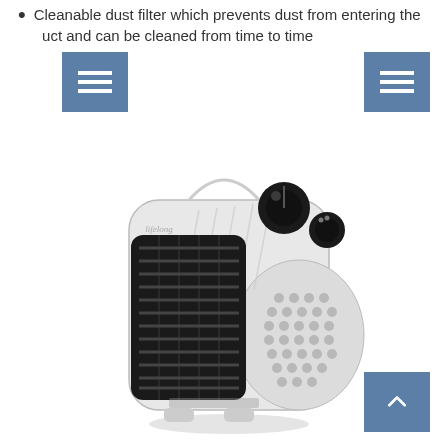Cleanable dust filter which prevents dust from entering the product and can be cleaned from time to time
[Figure (photo): White Lifelong brand electric fan heater with black grill on the front and two black control knobs on top-right side, shown at an angle.]